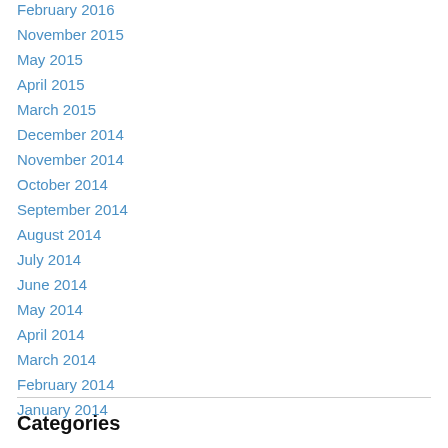February 2016
November 2015
May 2015
April 2015
March 2015
December 2014
November 2014
October 2014
September 2014
August 2014
July 2014
June 2014
May 2014
April 2014
March 2014
February 2014
January 2014
Categories